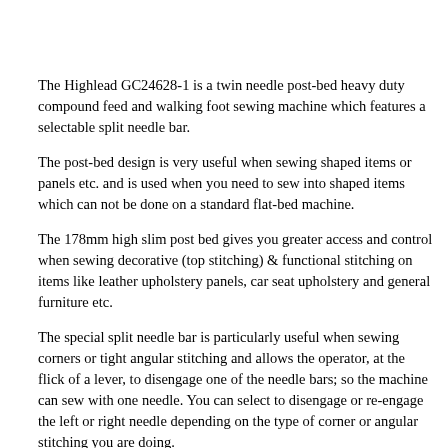The Highlead GC24628-1 is a twin needle post-bed heavy duty compound feed and walking foot sewing machine which features a selectable split needle bar.
The post-bed design is very useful when sewing shaped items or panels etc. and is used when you need to sew into shaped items which can not be done on a standard flat-bed machine.
The 178mm high slim post bed gives you greater access and control when sewing decorative (top stitching) & functional stitching on items like leather upholstery panels, car seat upholstery and general furniture etc.
The special split needle bar is particularly useful when sewing corners or tight angular stitching and allows the operator, at the flick of a lever, to disengage one of the needle bars; so the machine can sew with one needle. You can select to disengage or re-engage the left or right needle depending on the type of corner or angular stitching you are doing.
The machine is smooth running, durable, versatile and its robust construction includes: needle roller bearings for the arm & hook shaft etc., cog driven belt assemblies and a semi-automatic oil lubrication system with sump is fitted which reduces wear & tear considerably.
As well as the Post bed shape & split needle bar design, It features a heavy